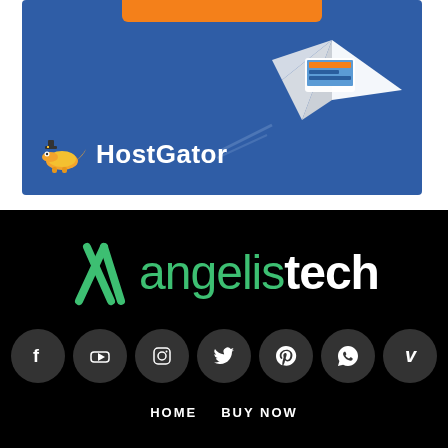[Figure (advertisement): HostGator web hosting advertisement banner. Blue background with orange button at top, paper airplane graphic, laptop screenshot, and HostGator logo with alligator mascot icon at bottom left.]
[Figure (logo): Angelistech logo on black background. Green stylized 'AT' icon followed by 'angelis' in green thin font and 'tech' in white bold font.]
[Figure (infographic): Row of seven social media icon buttons (Facebook, YouTube, Instagram, Twitter, Pinterest, WhatsApp, Vimeo) as dark circular buttons on black background.]
HOME   BUY NOW